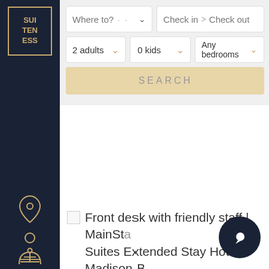[Figure (logo): Suiteness logo with gold border, text: SUI TEN ESS]
[Figure (infographic): Sidebar icons: location pin, navigation/tower, gift/amenities, building/hotel, list/details, person/profile]
Where to?
Check in > Check out
2 adults
0 kids
Any bedrooms
SEARCH
[Figure (photo): Broken image placeholder with alt text: Front desk with friendly staff | MainStay Suites Extended Stay Hotel Madison B]